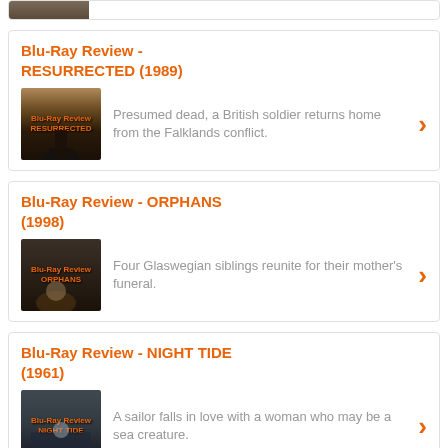[Figure (screenshot): Partial card at top showing cropped movie image thumbnail]
Blu-Ray Review - RESURRECTED (1989)
[Figure (screenshot): Blu-Ray Review RESURRECTED movie thumbnail image - dark silhouette]
Presumed dead, a British soldier returns home from the Falklands conflict.
Blu-Ray Review - ORPHANS (1998)
[Figure (screenshot): Blu-Ray Review ORPHANS movie thumbnail image]
Four Glaswegian siblings reunite for their mother's funeral.
Blu-Ray Review - NIGHT TIDE (1961)
[Figure (screenshot): Blu-Ray Review NIGHT TIDE movie thumbnail image - partially visible]
A sailor falls in love with a woman who may be a sea creature.